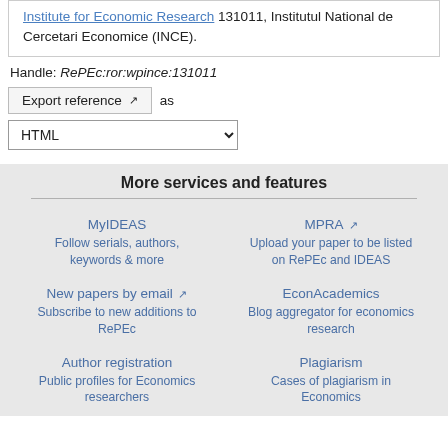Institute for Economic Research 131011, Institutul National de Cercetari Economice (INCE).
Handle: RePEc:ror:wpince:131011
Export reference ↗ as
HTML
More services and features
MyIDEAS
Follow serials, authors, keywords & more
MPRA ↗
Upload your paper to be listed on RePEc and IDEAS
New papers by email ↗
Subscribe to new additions to RePEc
EconAcademics
Blog aggregator for economics research
Author registration
Public profiles for Economics researchers
Plagiarism
Cases of plagiarism in Economics